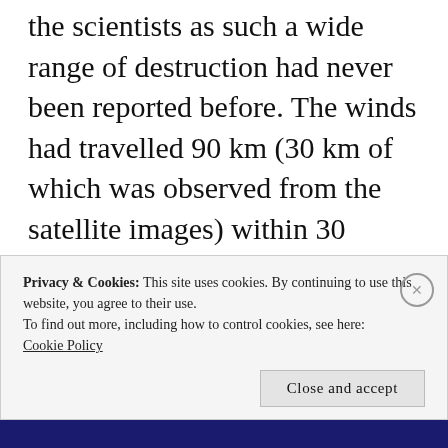the scientists as such a wide range of destruction had never been reported before. The winds had travelled 90 km (30 km of which was observed from the satellite images) within 30 minutes, uprooted trees, overturned trucks and completely damaged some masonry buildings. The winds were stronger than what was usually observed. They had to dig deeper into what had actually happened.
Privacy & Cookies: This site uses cookies. By continuing to use this website, you agree to their use.
To find out more, including how to control cookies, see here: Cookie Policy
Close and accept